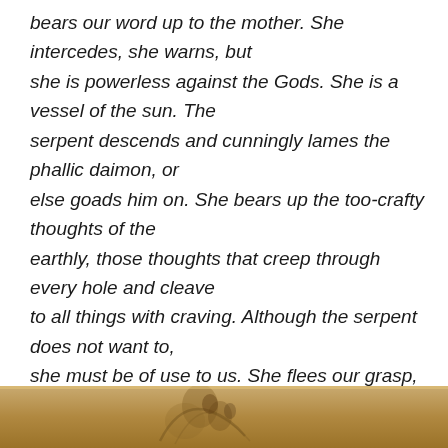bears our word up to the mother. She intercedes, she warns, but she is powerless against the Gods. She is a vessel of the sun. The serpent descends and cunningly lames the phallic daimon, or else goads him on. She bears up the too-crafty thoughts of the earthly, those thoughts that creep through every hole and cleave to all things with craving. Although the serpent does not want to, she must be of use to us. She flees our grasp, thus showing us the way, which our human wits could not find."
[Figure (photo): Partial view of an antiquated illustration or painting with warm golden-brown tones, visible at the bottom of the page]